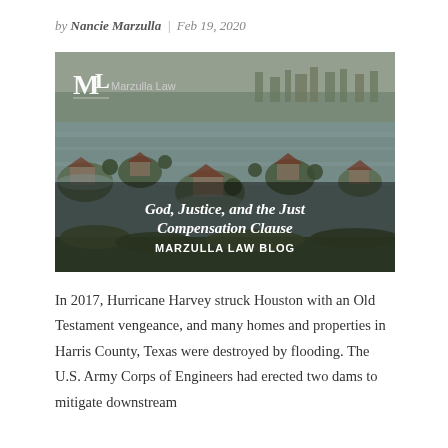by Nancie Marzulla | Feb 19, 2020
[Figure (photo): Aerial photograph of flooded Houston neighborhoods during Hurricane Harvey, with the Marzulla Law logo and blog header text overlaid: 'God, Justice, and the Just Compensation Clause — MARZULLA LAW BLOG']
In 2017, Hurricane Harvey struck Houston with an Old Testament vengeance, and many homes and properties in Harris County, Texas were destroyed by flooding. The U.S. Army Corps of Engineers had erected two dams to mitigate downstream